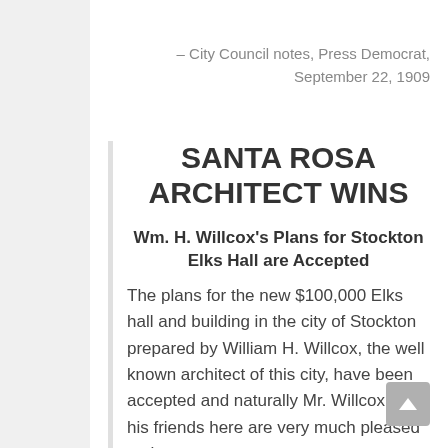– City Council notes, Press Democrat, September 22, 1909
SANTA ROSA ARCHITECT WINS
Wm. H. Willcox's Plans for Stockton Elks Hall are Accepted
The plans for the new $100,000 Elks hall and building in the city of Stockton prepared by William H. Willcox, the well known architect of this city, have been accepted and naturally Mr. Willcox and his friends here are very much pleased at the